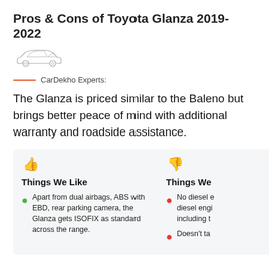Pros & Cons of Toyota Glanza 2019-2022
[Figure (illustration): Small outline/silhouette illustration of a sedan car (Toyota Glanza)]
CarDekho Experts:
The Glanza is priced similar to the Baleno but brings better peace of mind with additional warranty and roadside assistance.
Things We Like
Apart from dual airbags, ABS with EBD, rear parking camera, the Glanza gets ISOFIX as standard across the range.
Things We
No diesel engine / diesel engi... including t...
Doesn't ta...